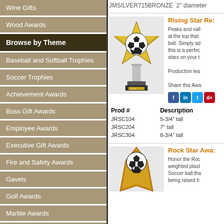JMSILVER715BRONZE  2" diameter
Wine Gifts
Wood Awards
Browse by Theme
Baseball and Softball Trophies
Soccer Trophies
Achievement Awards
Boss Gift Awards
Employee Awards
Executive Gift Awards
Fire and Safety Awards
Gavels
Golf Awards
Marble Awards
Patriotic Awards
Religious Awards
Sales Awards
[Figure (photo): Rising Star soccer trophy with star-shaped top holding a soccer ball, silver column, black and gold base]
Rising Star Re: Peaks and valleys at the top that ball. Simply ad this is a perfect stars on your t Production lea Share this Awa
| Prod # | Description |
| --- | --- |
| JRSC104 | 5-3/4" tall |
| JRSC204 | 7" tall |
| JRSC304 | 8-3/4" tall |
[Figure (photo): Rock Star soccer trophy with gold angular base holding a soccer ball]
Rock Star Awa: Honor the Roc weighted plast Soccer ball tha being raised h